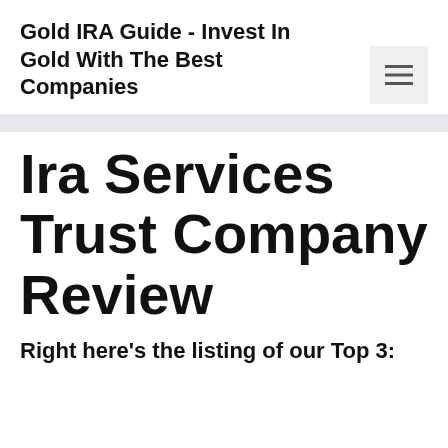Gold IRA Guide - Invest In Gold With The Best Companies
Ira Services Trust Company Review
Right here’s the listing of our Top 3: